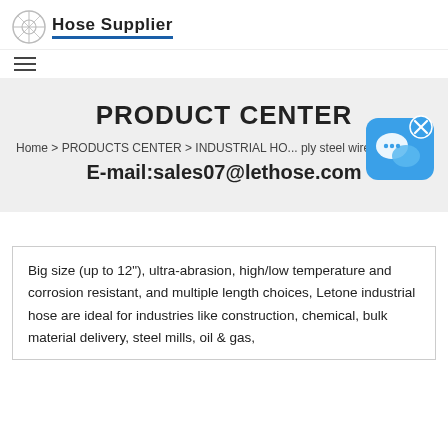Hose Supplier
PRODUCT CENTER
Home > PRODUCTS CENTER > INDUSTRIAL HO... ply steel wire spiral chemical guys hydroslick yo...
E-mail:sales07@lethose.com
[Figure (other): Blue chat/messenger widget icon with X close button in top right corner]
Big size (up to 12"), ultra-abrasion, high/low temperature and corrosion resistant, and multiple length choices, Letone industrial hose are ideal for industries like construction, chemical, bulk material delivery, steel mills, oil & gas,